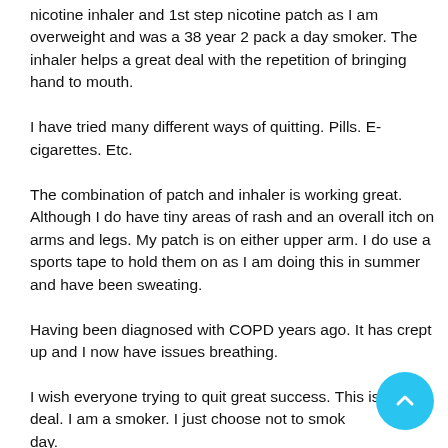nicotine inhaler and 1st step nicotine patch as I am overweight and was a 38 year 2 pack a day smoker. The inhaler helps a great deal with the repetition of bringing hand to mouth.
I have tried many different ways of quitting. Pills. E-cigarettes. Etc.
The combination of patch and inhaler is working great. Although I do have tiny areas of rash and an overall itch on arms and legs. My patch is on either upper arm. I do use a sports tape to hold them on as I am doing this in summer and have been sweating.
Having been diagnosed with COPD years ago. It has crept up and I now have issues breathing.
I wish everyone trying to quit great success. This is how I deal. I am a smoker. I just choose not to smoke today.